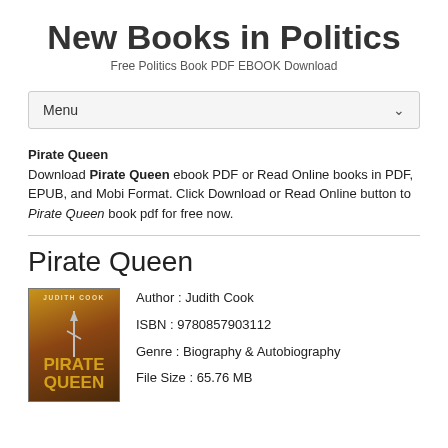New Books in Politics
Free Politics Book PDF EBOOK Download
Menu
Pirate Queen
Download Pirate Queen ebook PDF or Read Online books in PDF, EPUB, and Mobi Format. Click Download or Read Online button to Pirate Queen book pdf for free now.
Pirate Queen
[Figure (illustration): Book cover for Pirate Queen by Judith Cook, featuring a sword on a golden/brown background with the title in gold letters]
Author : Judith Cook
ISBN : 9780857903112
Genre : Biography & Autobiography
File Size : 65.76 MB